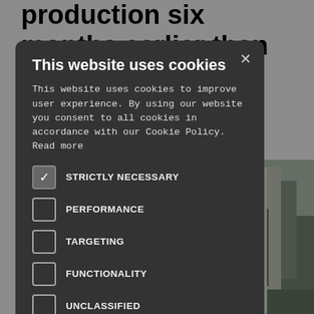production six months earlier than anticipated, exceeding all production start-…ted …creased …to handle …he ore
[Figure (photo): Industrial facility with large cylindrical structure and metal building in background]
This website uses cookies

This website uses cookies to improve user experience. By using our website you consent to all cookies in accordance with our Cookie Policy. Read more

STRICTLY NECESSARY
PERFORMANCE
TARGETING
FUNCTIONALITY
UNCLASSIFIED

ACCEPT ALL   DECLINE ALL

SHOW DETAILS